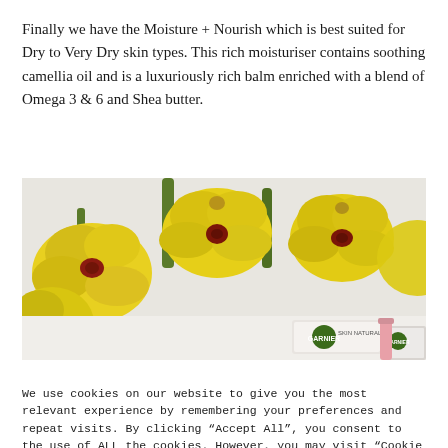Finally we have the Moisture + Nourish which is best suited for Dry to Very Dry skin types. This rich moisturiser contains soothing camellia oil and is a luxuriously rich balm enriched with a blend of Omega 3 & 6 and Shea butter.
[Figure (photo): Photo of yellow orchid flowers arranged on a white background with two Garnier skincare product boxes visible in the lower portion of the image.]
We use cookies on our website to give you the most relevant experience by remembering your preferences and repeat visits. By clicking "Accept All", you consent to the use of ALL the cookies. However, you may visit "Cookie Settings" to provide a controlled consent.